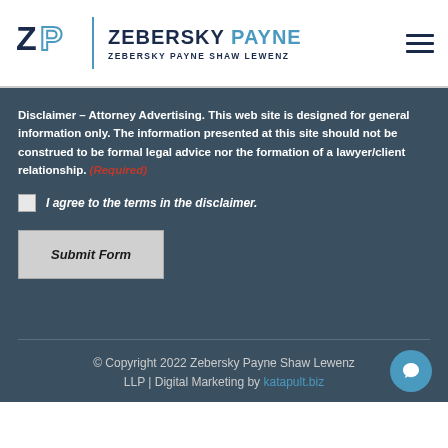[Figure (logo): Zebersky Payne logo with ZP monogram, divider, firm name ZEBERSKY PAYNE and tagline ZEBERSKY PAYNE SHAW LEWENZ, plus hamburger menu icon]
Disclaimer – Attorney Advertising. This web site is designed for general information only. The information presented at this site should not be construed to be formal legal advice nor the formation of a lawyer/client relationship. (Required)
I agree to the terms in the disclaimer.
Submit Form
© Copyright 2022 Zebersky Payne Shaw Lewenz LLP | Digital Marketing by katapult.biz